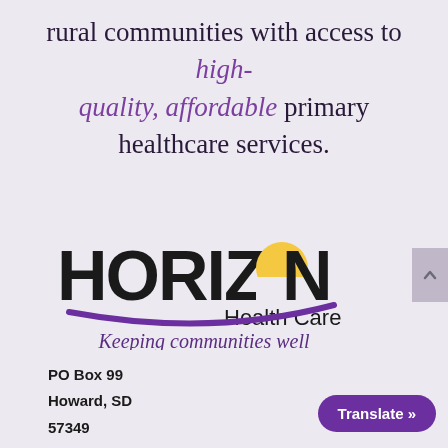rural communities with access to high-quality, affordable primary healthcare services.
[Figure (logo): Horizon Health Care logo with sun graphic, purple swoosh, 'Health Care' text, and tagline 'Keeping communities well']
PO Box 99
Howard, SD
57349